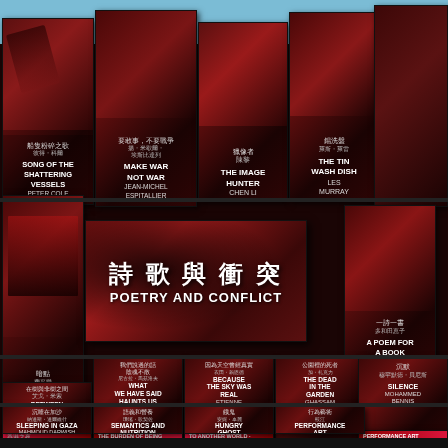[Figure (photo): A photograph of multiple dark red/brown book covers arranged on display shelves. The books are from a poetry series titled 'Poetry and Conflict' (詩歌與衝突) shown prominently on a central large book/banner. Individual book titles visible include: Song of the Shattering Vessels (Peter Cole), Make War Not War (Jean-Michel Espitallier), The Image Hunter (Chen Li), The Tin Wash Dish (Les Murray), Scotoma (Fernando Pinto do Amaral), A Poem for a Book (Yoko Tawada), Between the Trees and the Non-Trees (Agi Mishol), What We Have Said Haunts Us (Nikola Madzirov), Because the Sky Was Real (Etienne Lalonde), The Dead in the Garden (Ghassam Zaqtan), Hong Kong Night, The Burden of Being Bama (Ko Ko Thett), To Another World (Wang Xiaoni), Silence (Mohammed Bennis), Sleeping in Gaza (Mahmoud Darwish), Semantics and Nutrition, Hungry Ghost (Anne...), Performance Art. All books have dark red/maroon covers with Chinese and English text.]